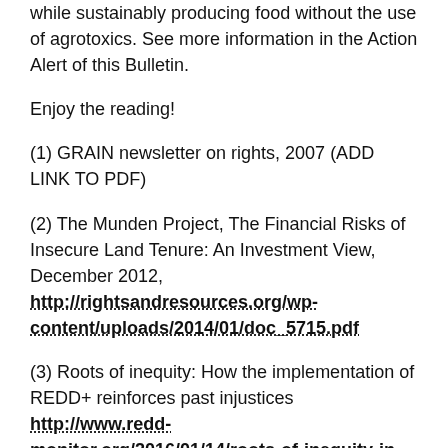while sustainably producing food without the use of agrotoxics. See more information in the Action Alert of this Bulletin.
Enjoy the reading!
(1) GRAIN newsletter on rights, 2007 (ADD LINK TO PDF)
(2) The Munden Project, The Financial Risks of Insecure Land Tenure: An Investment View, December 2012, http://rightsandresources.org/wp-content/uploads/2014/01/doc_5715.pdf
(3) Roots of inequity: How the implementation of REDD+ reinforces past injustices http://www.redd-monitor.org/2016/01/14/roots-of-inequity-in-wildlife-works-kasigau-corridor-